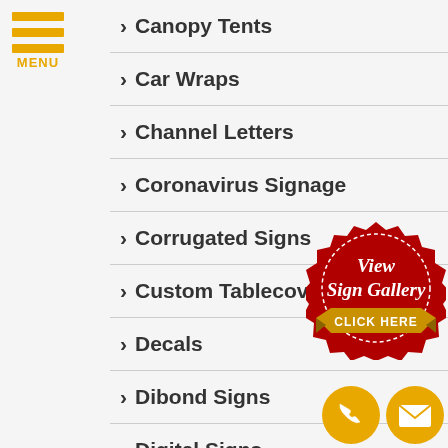[Figure (infographic): Hamburger menu icon with three gold horizontal bars and MENU label below]
Canopy Tents
Car Wraps
Channel Letters
Coronavirus Signage
Corrugated Signs
Custom Tablecovers
Decals
Dibond Signs
Digital Signs
[Figure (infographic): Red wax seal badge with white text 'View Sign Gallery' and gold 'CLICK HERE' ribbon banner at bottom]
[Figure (infographic): Two gold circle icons: phone handset and envelope/email]